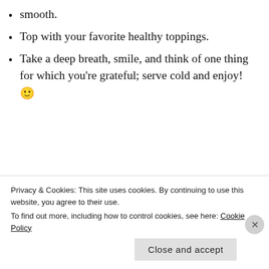smooth.
Top with your favorite healthy toppings.
Take a deep breath, smile, and think of one thing for which you're grateful; serve cold and enjoy! 🙂
[Figure (photo): A white bowl containing green smoothie/soup topped with nuts and coconut flakes, placed on a wooden surface.]
Privacy & Cookies: This site uses cookies. By continuing to use this website, you agree to their use.
To find out more, including how to control cookies, see here: Cookie Policy